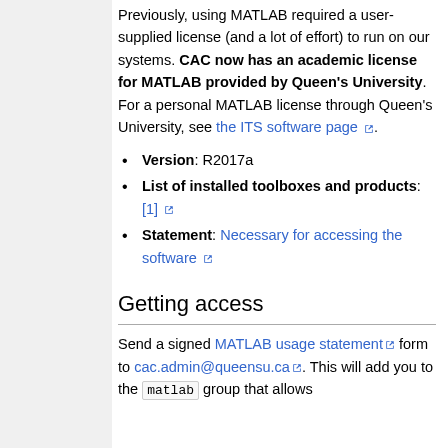Previously, using MATLAB required a user-supplied license (and a lot of effort) to run on our systems. CAC now has an academic license for MATLAB provided by Queen's University. For a personal MATLAB license through Queen's University, see the ITS software page.
Version: R2017a
List of installed toolboxes and products: [1]
Statement: Necessary for accessing the software
Getting access
Send a signed MATLAB usage statement form to cac.admin@queensu.ca. This will add you to the matlab group that allows